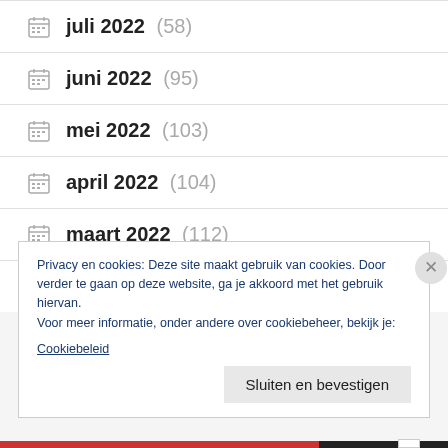juli 2022 (58)
juni 2022 (95)
mei 2022 (103)
april 2022 (104)
maart 2022 (112)
februari 2022 (82)
Privacy en cookies: Deze site maakt gebruik van cookies. Door verder te gaan op deze website, ga je akkoord met het gebruik hiervan.
Voor meer informatie, onder andere over cookiebeheer, bekijk je:
Cookiebeleid
Sluiten en bevestigen